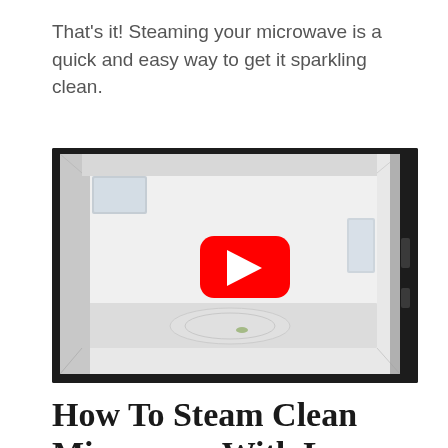That's it! Steaming your microwave is a quick and easy way to get it sparkling clean.
[Figure (screenshot): Screenshot of a YouTube video thumbnail showing the clean interior of a microwave oven, with a red YouTube play button overlay in the center.]
How To Steam Clean Microwave With Lemon